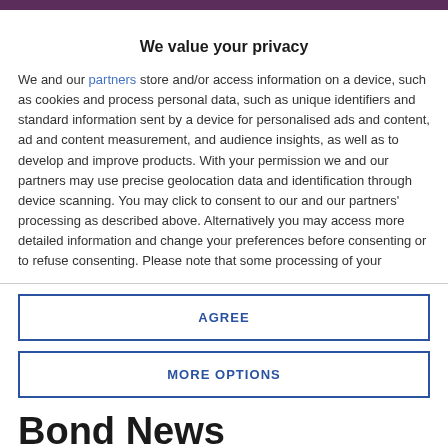We value your privacy
We and our partners store and/or access information on a device, such as cookies and process personal data, such as unique identifiers and standard information sent by a device for personalised ads and content, ad and content measurement, and audience insights, as well as to develop and improve products. With your permission we and our partners may use precise geolocation data and identification through device scanning. You may click to consent to our and our partners' processing as described above. Alternatively you may access more detailed information and change your preferences before consenting or to refuse consenting. Please note that some processing of your
AGREE
MORE OPTIONS
Bond News